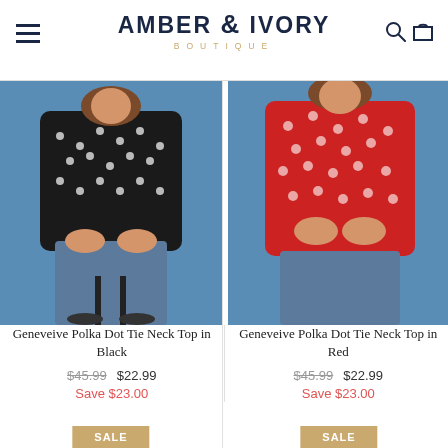Amber & Ivory Boutique
[Figure (photo): Woman wearing black polka dot tie neck top, seated on stool with blue background]
Geneveive Polka Dot Tie Neck Top in Black
$45.99  $22.99
Save $23.00
[Figure (photo): Woman wearing red polka dot tie neck top with blue background]
Geneveive Polka Dot Tie Neck Top in Red
$45.99  $22.99
Save $23.00